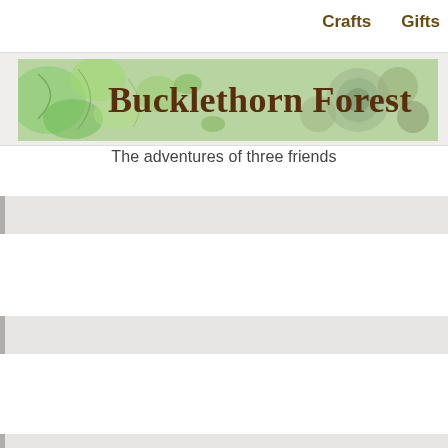Crafts    Gifts
Bucklethorn Forest
The adventures of three friends
[Figure (other): Decorative banner with green botanical/leaf illustrated background behind the Bucklethorn Forest title]